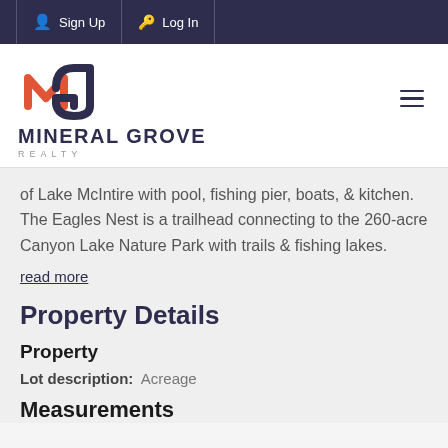Sign Up  Log In
[Figure (logo): Mineral Grove Realty logo with orange and navy M-G icon and text MINERAL GROVE REALTY]
of Lake McIntire with pool, fishing pier, boats, & kitchen. The Eagles Nest is a trailhead connecting to the 260-acre Canyon Lake Nature Park with trails & fishing lakes.
read more
Property Details
Property
Lot description: Acreage
Measurements